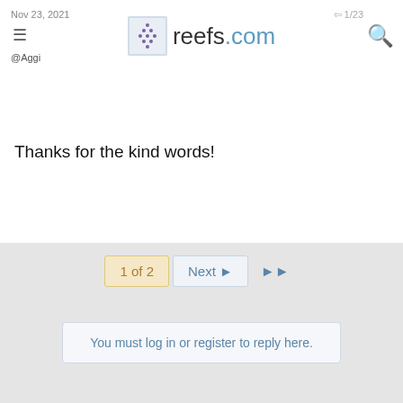Nov 23, 2021  ≡  @Aggi  reefs.com
Thanks for the kind words!
1 of 2  Next ▶  ▶▶
You must log in or register to reply here.